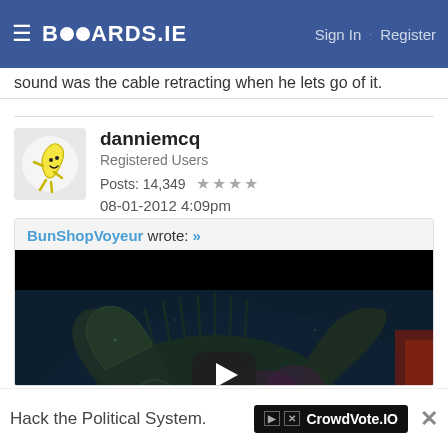BOARDS.IE  Sign In · Register
sound was the cable retracting when he lets go of it.
danniemcq
Registered Users
Posts: 14,349  ★★★★
08-01-2012 4:09pm
BunShopVoyeur wrote: »
[Figure (screenshot): Embedded video thumbnail showing a dark fantasy creature scene with a play button overlay]
Hack the Political System.
CrowdVote.IO